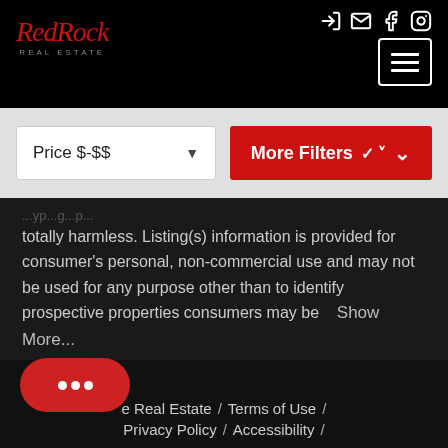Red Rock Real Estate - navigation header with logo and menu icons
Price $-$$
More Filters
totally harmless. Listing(s) information is provided for consumer's personal, non-commercial use and may not be used for any purpose other than to identify prospective properties consumers may be   Show More...
Red Rock Real Estate / Terms of Use / Privacy Policy / Accessibility /